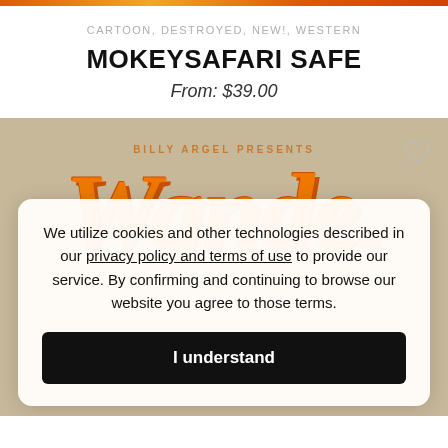CARTOON, DESTROYED, NEW!, WESTERN
MOKEYSAFARI SAFE
From: $39.00
[Figure (illustration): Product image with orange decorative large italic font text on a burlap/canvas tan background, with text 'BILLY ARGEL PRESENTS' above. A heart/wishlist icon is in the top right corner.]
We utilize cookies and other technologies described in our privacy policy and terms of use to provide our service. By confirming and continuing to browse our website you agree to those terms.
I understand